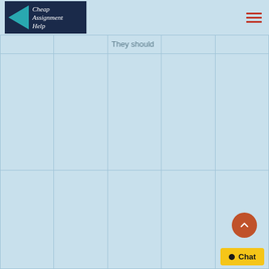Cheap Assignment Help
|  |  | They should |  |  |
|  |  |  |  |  |
|  |  |  |  |  |
Chat